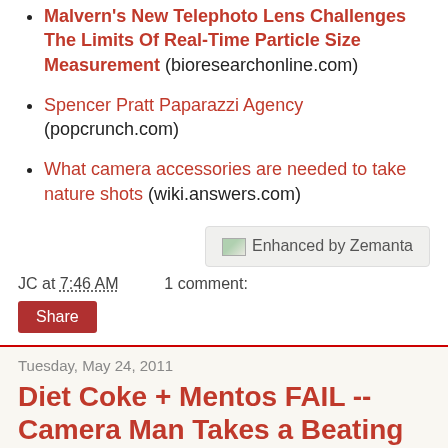Malvern's New Telephoto Lens Challenges The Limits Of Real-Time Particle Size Measurement (bioresearchonline.com)
Spencer Pratt Paparazzi Agency (popcrunch.com)
What camera accessories are needed to take nature shots (wiki.answers.com)
[Figure (screenshot): Enhanced by Zemanta badge/widget box]
JC at 7:46 AM    1 comment:
Share
Tuesday, May 24, 2011
Diet Coke + Mentos FAIL -- Camera Man Takes a Beating
Watch this hilarious video of a redneck cameraman getting taken out by a fail involving diet coke and some Mentos. My favourite part is about the original camcorder at the Mentos i...